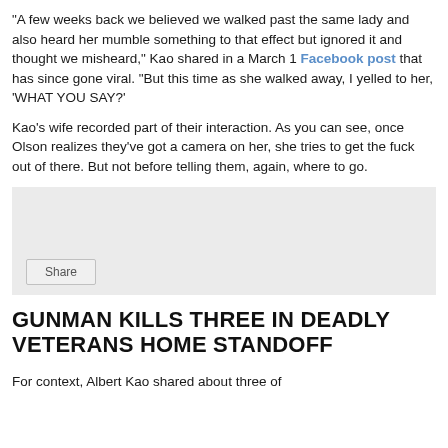"A few weeks back we believed we walked past the same lady and also heard her mumble something to that effect but ignored it and thought we misheard," Kao shared in a March 1 Facebook post that has since gone viral. "But this time as she walked away, I yelled to her, 'WHAT YOU SAY?'

Kao's wife recorded part of their interaction. As you can see, once Olson realizes they've got a camera on her, she tries to get the fuck out of there. But not before telling them, again, where to go.
[Figure (other): Embedded social media video player with Share button, light gray background]
GUNMAN KILLS THREE IN DEADLY VETERANS HOME STANDOFF
For context, Albert Kao shared about three of...